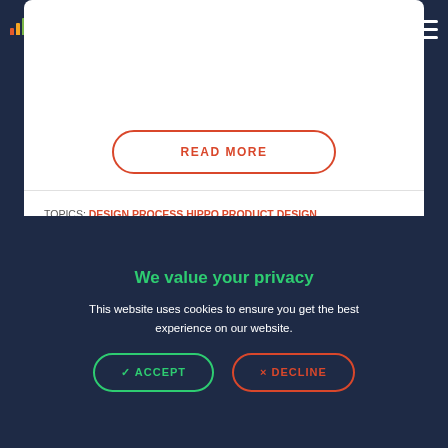eyequant — From maintaining audit trails to preparing your key strategies to successfully manage senior stakeholders in any design...
READ MORE
TOPICS: DESIGN PROCESS HIPPO PRODUCT DESIGN STAKEHOLDERS UX DESIGN
We value your privacy
This website uses cookies to ensure you get the best experience on our website.
✓ ACCEPT   × DECLINE